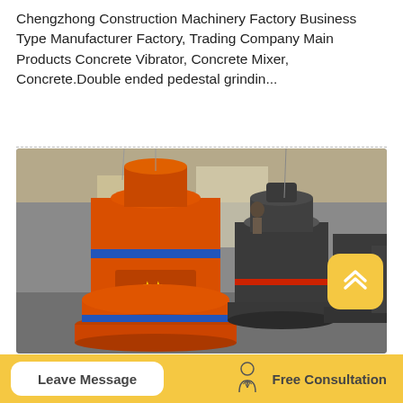Chengzhong Construction Machinery Factory Business Type Manufacturer Factory, Trading Company Main Products Concrete Vibrator, Concrete Mixer, Concrete.Double ended pedestal grindin...
[Figure (photo): Industrial photo of large orange and dark grey cone crusher machines lined up in a manufacturing factory warehouse. The orange machine is in the foreground on the left, dark grey ones in the background on the right.]
Leave Message
[Figure (illustration): Line-art icon of a person in a suit (consultant figure)]
Free Consultation